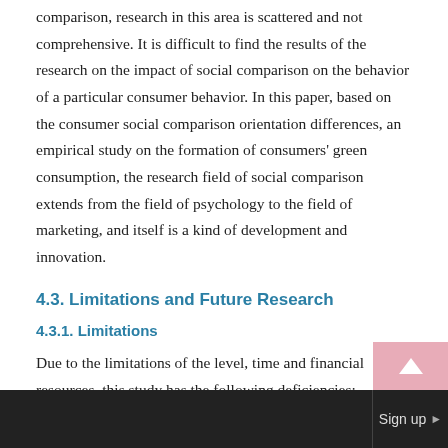comparison, research in this area is scattered and not comprehensive. It is difficult to find the results of the research on the impact of social comparison on the behavior of a particular consumer behavior. In this paper, based on the consumer social comparison orientation differences, an empirical study on the formation of consumers' green consumption, the research field of social comparison extends from the field of psychology to the field of marketing, and itself is a kind of development and innovation.
4.3. Limitations and Future Research
4.3.1. Limitations
Due to the limitations of the level, time and financial resources, this study has the following deficiencies: